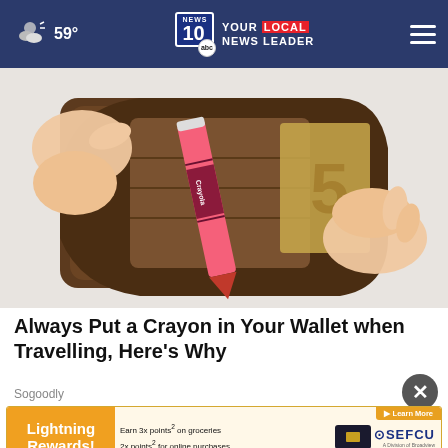59° NEWS 10 YOUR LOCAL NEWS LEADER
[Figure (photo): Hands holding open a brown leather wallet with a red Crayola crayon inside and currency visible]
Always Put a Crayon in Your Wallet when Travelling, Here's Why
Sogoodly
[Figure (infographic): SEFCU Lightning Rewards advertisement banner: Earn 3x points on groceries, 2x points for online purchases, 1x points for everything else. Learn More button. SEFCU A Division of Broadview.]